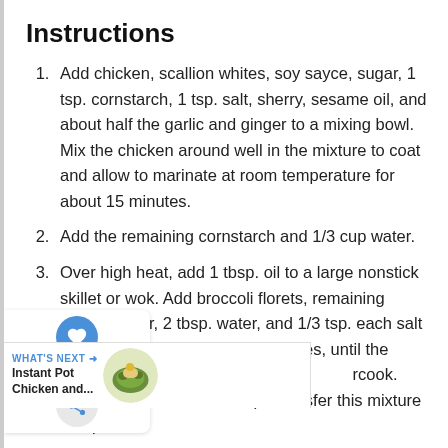Instructions
Add chicken, scallion whites, soy sayce, sugar, 1 tsp. cornstarch, 1 tsp. salt, sherry, sesame oil, and about half the garlic and ginger to a mixing bowl. Mix the chicken around well in the mixture to coat and allow to marinate at room temperature for about 15 minutes.
Add the remaining cornstarch and 1/3 cup water.
Over high heat, add 1 tbsp. oil to a large nonstick skillet or wok. Add broccoli florets, remaining garlic, ginger, 2 tbsp. water, and 1/3 tsp. each salt and pepper. Stir fry about 2 minutes, until the broccoli is bright green. Do not overcook. Broccoli should still be crisp. Transfer this mixture to a plate.
Bring the skillet or wok back to high heat and